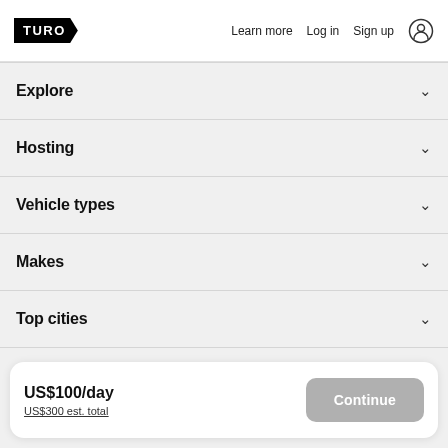TURO  Learn more  Log in  Sign up
Explore
Hosting
Vehicle types
Makes
Top cities
US$100/day
US$300 est. total
Continue